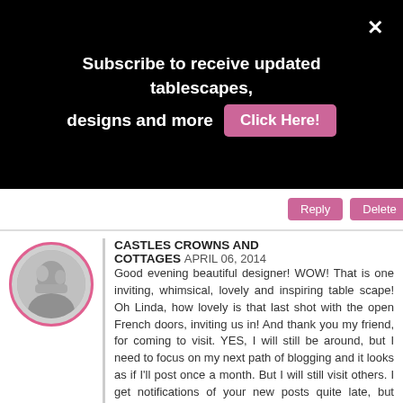Subscribe to receive updated tablescapes, designs and more   Click Here!
Reply   Delete
CASTLES CROWNS AND COTTAGES  APRIL 06, 2014

Good evening beautiful designer! WOW! That is one inviting, whimsical, lovely and inspiring table scape! Oh Linda, how lovely is that last shot with the open French doors, inviting us in! And thank you my friend, for coming to visit. YES, I will still be around, but I need to focus on my next path of blogging and it looks as if I'll post once a month. But I will still visit others. I get notifications of your new posts quite late, but when I do get them, I'll be here!

Big hugs, Anita